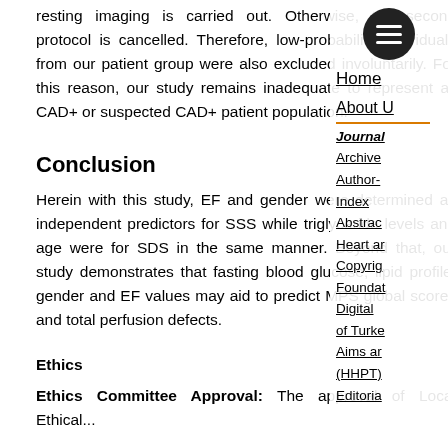resting imaging is carried out. Otherwise, the second protocol is cancelled. Therefore, low-probability individuals from our patient group were also excluded involuntarily. For this reason, our study remains inadequate to represent all CAD+ or suspected CAD+ patient population.
Conclusion
Herein with this study, EF and gender were determined as independent predictors for SSS while triglyceride levels and age were for SDS in the same manner. Beyond that, our study demonstrates that fasting blood glucose, lipid profile, gender and EF values may aid to predict MPS global scores and total perfusion defects.
Ethics
Ethics Committee Approval: The approval of Local Ethical...